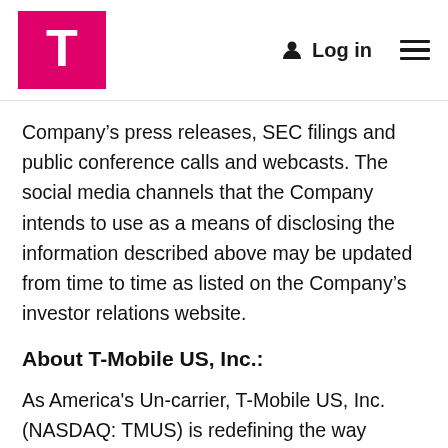T-Mobile | Log in
Company’s press releases, SEC filings and public conference calls and webcasts. The social media channels that the Company intends to use as a means of disclosing the information described above may be updated from time to time as listed on the Company’s investor relations website.
About T-Mobile US, Inc.:
As America's Un-carrier, T-Mobile US, Inc. (NASDAQ: TMUS) is redefining the way consumers and businesses buy wireless services through leading product and service innovation. The Company's advanced nationwide 4G LTE network delivers outstanding wireless